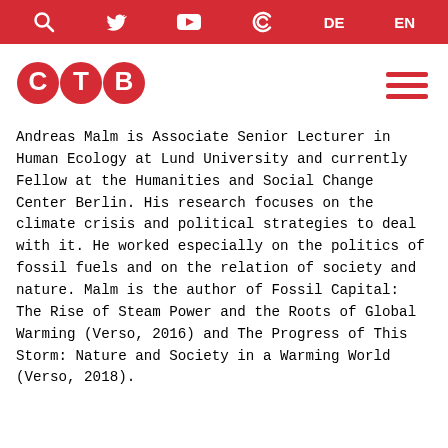CTB navigation bar with icons: search, Twitter, YouTube, Correctiv, DE, EN
[Figure (logo): CTB logo — three red circles each containing a white letter: C, T, B]
Andreas Malm is Associate Senior Lecturer in Human Ecology at Lund University and currently Fellow at the Humanities and Social Change Center Berlin. His research focuses on the climate crisis and political strategies to deal with it. He worked especially on the politics of fossil fuels and on the relation of society and nature. Malm is the author of Fossil Capital: The Rise of Steam Power and the Roots of Global Warming (Verso, 2016) and The Progress of This Storm: Nature and Society in a Warming World (Verso, 2018).